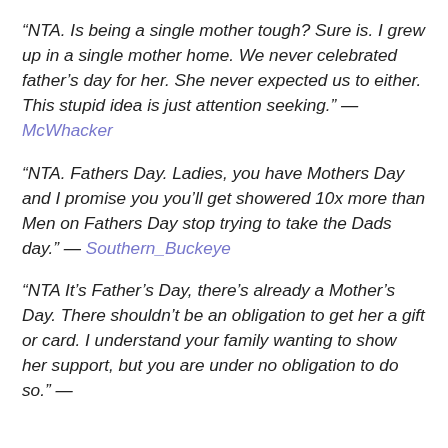“NTA. Is being a single mother tough? Sure is. I grew up in a single mother home. We never celebrated father’s day for her. She never expected us to either. This stupid idea is just attention seeking.” — McWhacker
“NTA. Fathers Day. Ladies, you have Mothers Day and I promise you you’ll get showered 10x more than Men on Fathers Day stop trying to take the Dads day.” — Southern_Buckeye
“NTA It’s Father’s Day, there’s already a Mother’s Day. There shouldn’t be an obligation to get her a gift or card. I understand your family wanting to show her support, but you are under no obligation to do so.” —